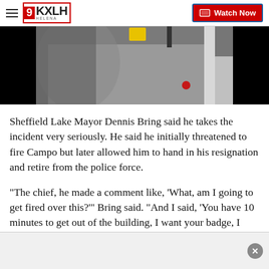9KXLH Helena — Watch Now
[Figure (photo): Security camera or overhead photo showing a tiled floor with a yellow object and a white door frame, black borders on sides.]
Sheffield Lake Mayor Dennis Bring said he takes the incident very seriously. He said he initially threatened to fire Campo but later allowed him to hand in his resignation and retire from the police force.
"The chief, he made a comment like, 'What, am I going to get fired over this?'" Bring said. "And I said, 'You have 10 minutes to get out of the building, I want your badge, I want your car keys, I want the keys to your